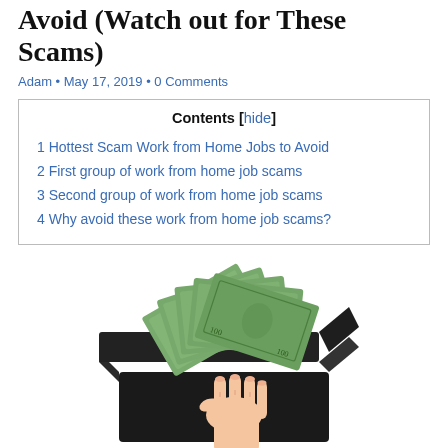Avoid (Watch out for These Scams)
Adam • May 17, 2019 • 0 Comments
| Contents |
| --- |
| 1 Hottest Scam Work from Home Jobs to Avoid |
| 2 First group of work from home job scams |
| 3 Second group of work from home job scams |
| 4 Why avoid these work from home job scams? |
[Figure (photo): A hand holding a fan of dollar bills emerging from an open black gift box, on a white background.]